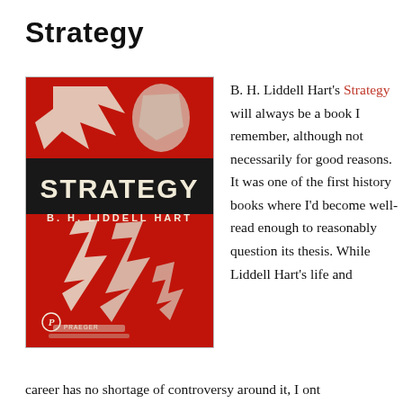Strategy
[Figure (illustration): Book cover of 'Strategy' by B. H. Liddell Hart, published by Praeger. Red background with white abstract angular shapes resembling a lightning bolt or arrow. Large black banner in the center with white text reading 'STRATEGY'. Below the banner in white serif text: 'B. H. LIDDELL HART'. Praeger publisher logo at bottom left.]
B. H. Liddell Hart's Strategy will always be a book I remember, although not necessarily for good reasons. It was one of the first history books where I'd become well-read enough to reasonably question its thesis. While Liddell Hart's life and career has no shortage of controversy around it, I ont